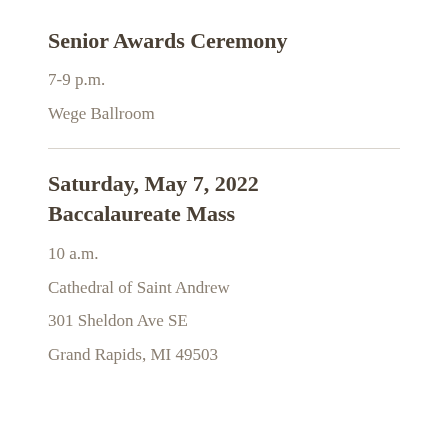Senior Awards Ceremony
7-9 p.m.
Wege Ballroom
Saturday, May 7, 2022
Baccalaureate Mass
10 a.m.
Cathedral of Saint Andrew
301 Sheldon Ave SE
Grand Rapids, MI 49503